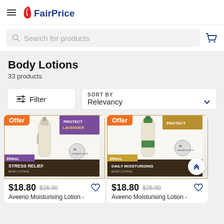FairPrice
Search for products
Body Lotions
33 products
Filter
SORT BY Relevancy
[Figure (screenshot): Aveeno Moisturising Lotion - Stress Relief Body Lotion 354mL with Offer badge]
$18.80 $26.90
Aveeno Moisturising Lotion -
[Figure (screenshot): Aveeno Moisturising Lotion - Daily Moisturizing Body Lotion 354mL with Offer badge]
$18.80 $26.90
Aveeno Moisturising Lotion -